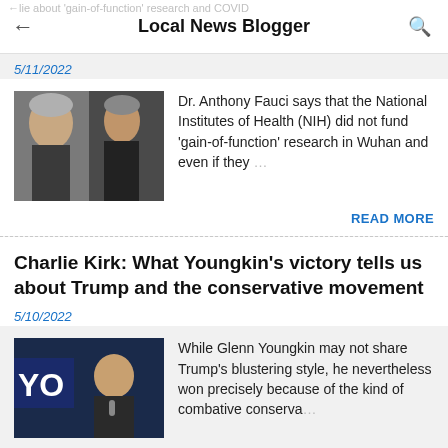Local News Blogger
5/11/2022
Dr. Anthony Fauci says that the National Institutes of Health (NIH) did not fund 'gain-of-function' research in Wuhan and even if they …
READ MORE
Charlie Kirk: What Youngkin's victory tells us about Trump and the conservative movement
5/10/2022
While Glenn Youngkin may not share Trump's blustering style, he nevertheless won precisely because of the kind of combative conserva …